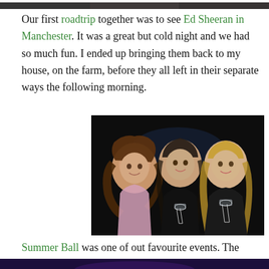[Figure (photo): Top portion of a group photo, partially visible at the top of the page]
Our first roadtrip together was to see Ed Sheeran in Manchester. It was a great but cold night and we had so much fun. I ended up bringing them back to my house, on the farm, before they all left in their separate ways the following morning.
[Figure (photo): Three young women smiling and holding champagne glasses at what appears to be a formal event, dark background]
Summer Ball was one of out favourite events. The accommodation that we lived at was absolutely amazing at organising events. It was so cheap and we got so much for the price we paid. Vicki never stops raving about it.
[Figure (photo): Bottom portion of another photo, partially visible at the bottom of the page]